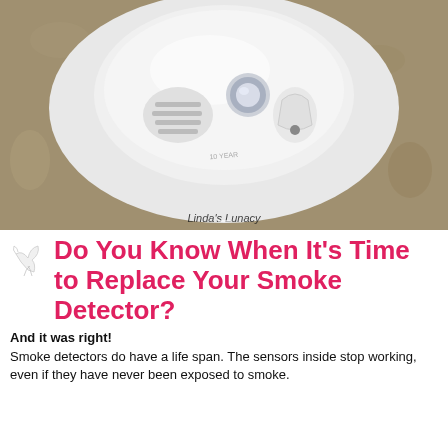[Figure (photo): Photo of a white smoke detector mounted on a tan/beige ceiling, viewed from below. The detector is round and white with speaker grilles, a light sensor, and a test button visible. A watermark reads 'Linda's Lunacy' at the bottom center.]
Do You Know When It's Time to Replace Your Smoke Detector?
And it was right!
Smoke detectors do have a life span. The sensors inside stop working, even if they have never been exposed to smoke.